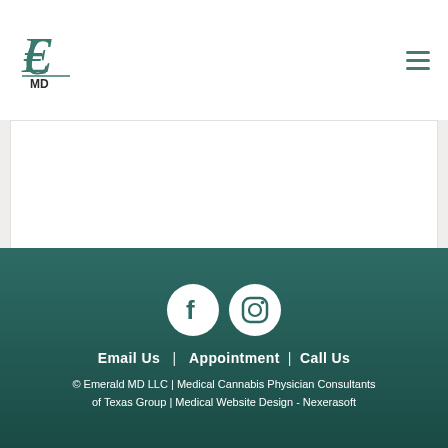[Figure (logo): Emerald MD logo — stylized green E with MD text below]
[Figure (other): Hamburger menu icon (three horizontal lines) in teal/green]
[Figure (other): White content area / empty banner region]
[Figure (other): Social media icons: Facebook circle and Instagram circle in white on dark teal background]
Email Us  |  Appointment |  Call Us
© Emerald MD LLC | Medical Cannabis Physician Consultants of Texas Group | Medical Website Design - Nexerasoft